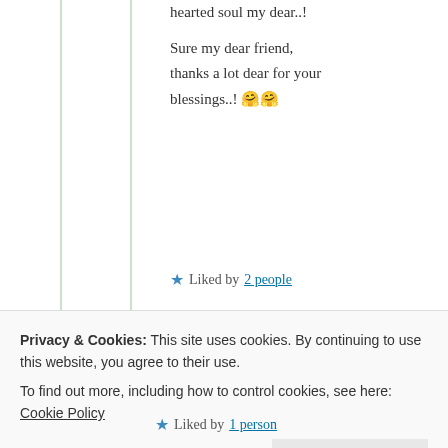hearted soul my dear..!

Sure my dear friend, thanks a lot dear for your blessings..! 🤗🤗
★ Liked by 2 people
Suma Reddy
26th Jun 2021 at 7:43 pm
Privacy & Cookies: This site uses cookies. By continuing to use this website, you agree to their use.
To find out more, including how to control cookies, see here: Cookie Policy
Close and accept
★ Liked by 1 person